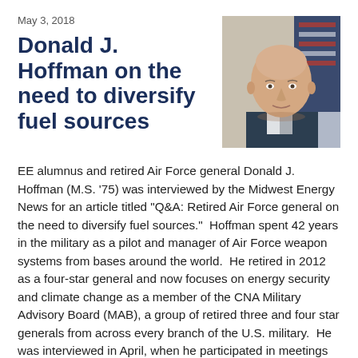May 3, 2018
Donald J. Hoffman on the need to diversify fuel sources
[Figure (photo): Headshot portrait of Donald J. Hoffman, a bald man in professional attire with a US flag in the background]
EE alumnus and retired Air Force general Donald J. Hoffman (M.S. '75) was interviewed by the Midwest Energy News for an article titled "Q&A: Retired Air Force general on the need to diversify fuel sources."  Hoffman spent 42 years in the military as a pilot and manager of Air Force weapon systems from bases around the world.  He retired in 2012 as a four-star general and now focuses on energy security and climate change as a member of the CNA Military Advisory Board (MAB), a group of retired three and four star generals from across every branch of the U.S. military.  He was interviewed in April, when he participated in meetings with the Wisconsin Conservative Energy Forum, which is focused on clean energy and energy efficiency.  Hoffman stressed the importance of